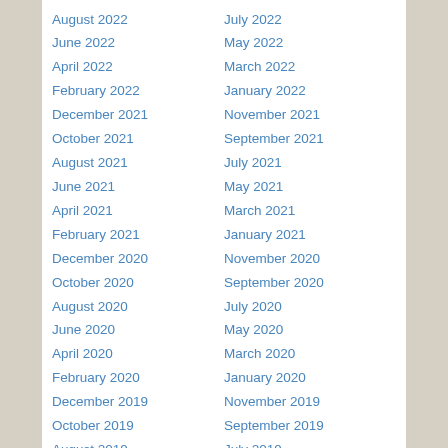August 2022
July 2022
June 2022
May 2022
April 2022
March 2022
February 2022
January 2022
December 2021
November 2021
October 2021
September 2021
August 2021
July 2021
June 2021
May 2021
April 2021
March 2021
February 2021
January 2021
December 2020
November 2020
October 2020
September 2020
August 2020
July 2020
June 2020
May 2020
April 2020
March 2020
February 2020
January 2020
December 2019
November 2019
October 2019
September 2019
August 2019
July 2019
June 2019
May 2019